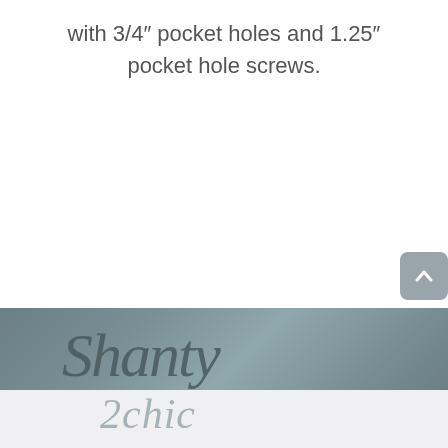with 3/4" pocket holes and 1.25" pocket hole screws.
[Figure (logo): Shanty 2 Chic logo on a grey-blue gradient banner background, with cursive handwritten 'Shanty' text above and '2chic' below in lighter script]